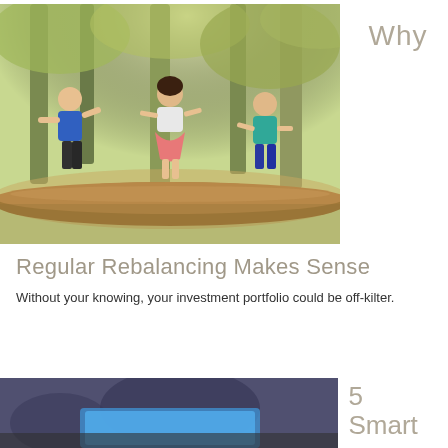[Figure (photo): Three children balancing on a fallen tree log in a sunlit forest. One child in a blue shirt with arms outstretched, one in a white top with pink skirt, and one in a teal shirt.]
Why
Regular Rebalancing Makes Sense
Without your knowing, your investment portfolio could be off-kilter.
[Figure (photo): Partial view of a tablet or device on a blurred background.]
5
Smart